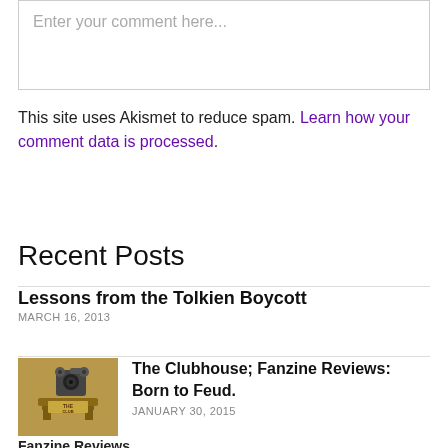Enter your comment here...
This site uses Akismet to reduce spam. Learn how your comment data is processed.
Recent Posts
Lessons from the Tolkien Boycott
MARCH 16, 2013
[Figure (photo): Thumbnail image for The Clubhouse; Fanzine Reviews: Born to Feud. showing a vintage film projector on a wooden base with 'The Club House' text on the side.]
The Clubhouse; Fanzine Reviews: Born to Feud.
JANUARY 30, 2015
Fanzine Reviews